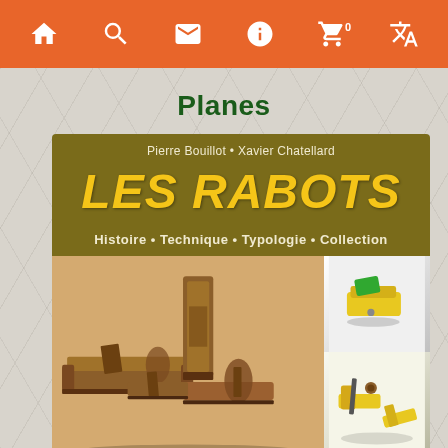Navigation bar with icons: home, search, mail, info, cart (0), translate
Planes
[Figure (photo): Book cover for 'Les Rabots' by Pierre Bouillot and Xavier Chatellard. Olive/dark yellow background with the title 'LES RABOTS' in large yellow italic text. Subtitle reads 'Histoire • Technique • Typologie • Collection'. The lower portion shows photos of antique wooden hand planes including traditional wooden bench planes, a metal plane, and small yellow modern planes.]